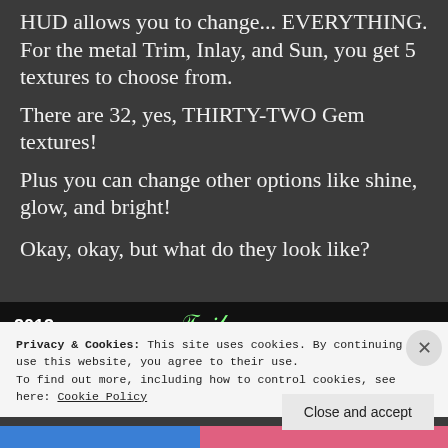HUD allows you to change... EVERYTHING. For the metal Trim, Inlay, and Sun, you get 5 textures to choose from.
There are 32, yes, THIRTY-TWO Gem textures!
Plus you can change other options like shine, glow, and bright!
Okay, okay, but what do they look like?
[Figure (screenshot): Partial view of a dark video/game screenshot with white bold text '2013' and green stylized text overlay]
Privacy & Cookies: This site uses cookies. By continuing to use this website, you agree to their use. To find out more, including how to control cookies, see here: Cookie Policy
Close and accept